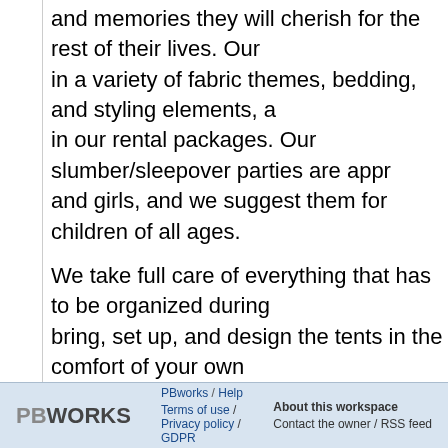and memories they will cherish for the rest of their lives. Our in a variety of fabric themes, bedding, and styling elements, a in our rental packages. Our slumber/sleepover parties are appr and girls, and we suggest them for children of all ages.
We take full care of everything that has to be organized during bring, set up, and design the tents in the comfort of your own and remove everything the following day, leaving your home messes! For all of your child's sleepover and kids slumber party renta us now. We are located in the lovely Naples, Florida region, b neighboring areas.
Comments (0)
You don't have permission to comment on this page.
PBWORKS   PBworks / Help   Terms of use / Privacy policy / GDPR   About this workspace   Contact the owner / RSS feed